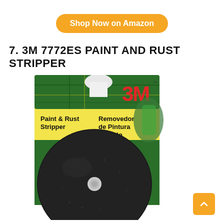Shop Now on Amazon
7. 3M 7772ES PAINT AND RUST STRIPPER
[Figure (photo): Product photo of 3M 7772ES Paint and Rust Stripper package showing a black abrasive disc on a yellow and green card with 3M logo and bilingual text 'Paint & Rust Stripper / Removedor de Pintura y Óxido']